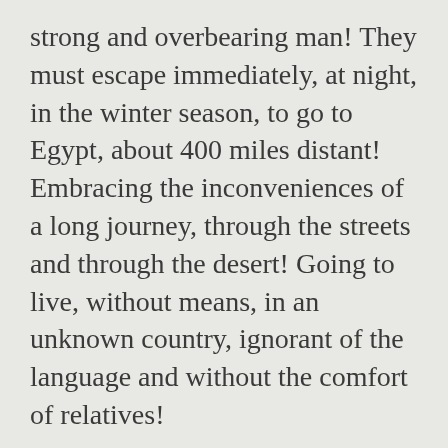strong and overbearing man! They must escape immediately, at night, in the winter season, to go to Egypt, about 400 miles distant! Embracing the inconveniences of a long journey, through the streets and through the desert! Going to live, without means, in an unknown country, ignorant of the language and without the comfort of relatives!
Our Lady did not say a word of complaint, neither against Herod nor towards Providence, which disposed everything. She would have recalled the word of Simeon: A sword will pierce your own soul!
It was providential and human that they